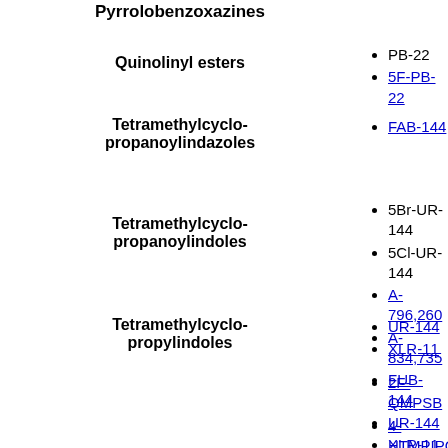Pyrrolobenzoxazines
PB-22
5F-PB-22
Quinolinyl esters
FAB-144
Tetramethylcyclopropanoylindazoles
5Br-UR-144
5Cl-UR-144
A-796,260
A-834,735
FUB-144
UR-144
XLR-11
XLR-12
Tetramethylcyclopropanoylindoles
UR-144
XLR-11
Tetramethylcyclopropylindoles
2F-QMPSB
4-HTMPIPO
4CN-CUMYL-BUT7AICA
5F-PY-PICA
5F-PY-PINAC
5F-3-pyridinoy